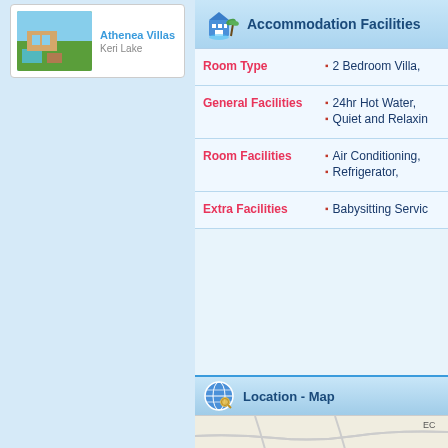[Figure (photo): Small thumbnail photo of Athenea Villas showing outdoor area with pool and sea view]
Athenea Villas
Keri Lake
Accommodation Facilities
|  |  |
| --- | --- |
| Room Type | 2 Bedroom Villa, |
| General Facilities | 24hr Hot Water,
Quiet and Relaxin |
| Room Facilities | Air Conditioning,
Refrigerator, |
| Extra Facilities | Babysitting Servic |
Location - Map
[Figure (map): Partial map view showing roads]